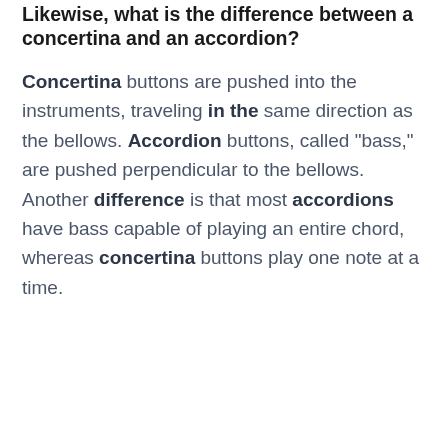Likewise, what is the difference between a concertina and an accordion?
Concertina buttons are pushed into the instruments, traveling in the same direction as the bellows. Accordion buttons, called "bass," are pushed perpendicular to the bellows. Another difference is that most accordions have bass capable of playing an entire chord, whereas concertina buttons play one note at a time.